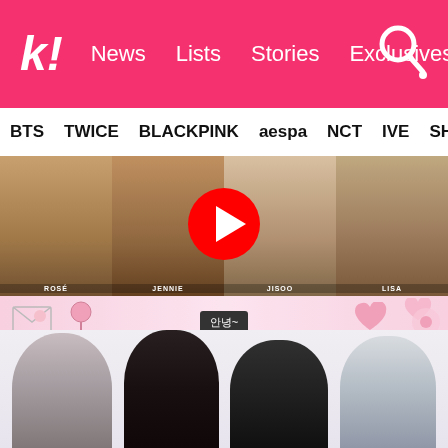k! News  Lists  Stories  Exclusives
BTS  TWICE  BLACKPINK  aespa  NCT  IVE  SHINe
[Figure (screenshot): BLACKPINK YouTube video thumbnail showing four members (Rose, Jennie, Jisoo, Lisa) in a 2x2 grid with a YouTube play button overlay, pink decorative banner below with Korean text badge '안녕~', hearts and envelope decorations, and black progress bar at bottom.]
What do you think about the situation?
[Figure (photo): Photo of four BLACKPINK members standing together - Jisoo, Lisa, Jennie, and Rose (with silver/white hair)]